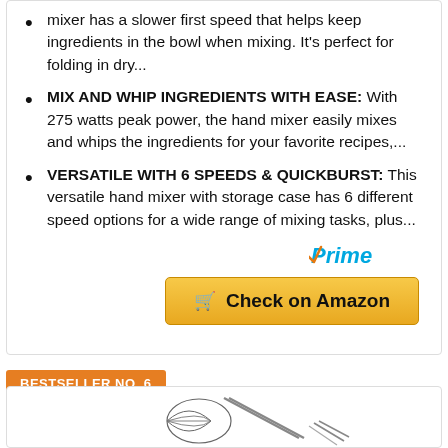mixer has a slower first speed that helps keep ingredients in the bowl when mixing. It's perfect for folding in dry...
MIX AND WHIP INGREDIENTS WITH EASE: With 275 watts peak power, the hand mixer easily mixes and whips the ingredients for your favorite recipes,...
VERSATILE WITH 6 SPEEDS & QUICKBURST: This versatile hand mixer with storage case has 6 different speed options for a wide range of mixing tasks, plus...
[Figure (logo): Amazon Prime logo with orange checkmark and blue italic Prime text]
[Figure (other): Orange button with shopping cart icon and text 'Check on Amazon']
BESTSELLER NO. 6
[Figure (illustration): Hand mixer with whisk attachments line drawing illustration]